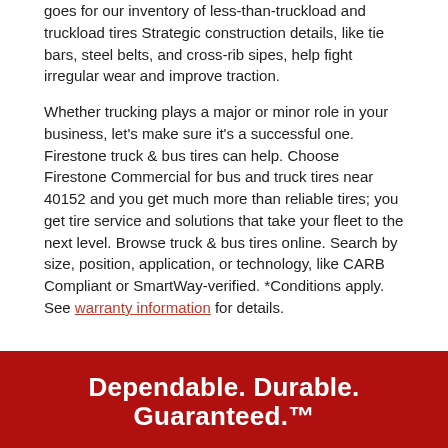goes for our inventory of less-than-truckload and truckload tires Strategic construction details, like tie bars, steel belts, and cross-rib sipes, help fight irregular wear and improve traction.
Whether trucking plays a major or minor role in your business, let's make sure it's a successful one. Firestone truck & bus tires can help. Choose Firestone Commercial for bus and truck tires near 40152 and you get much more than reliable tires; you get tire service and solutions that take your fleet to the next level. Browse truck & bus tires online. Search by size, position, application, or technology, like CARB Compliant or SmartWay-verified. *Conditions apply. See warranty information for details.
Dependable. Durable. Guaranteed.™
Give these tires 90 days. If they don't live up to your expectations, just give them back.* That's the 90-Day Buy and Try Guarantee™.
GET THE DETAILS